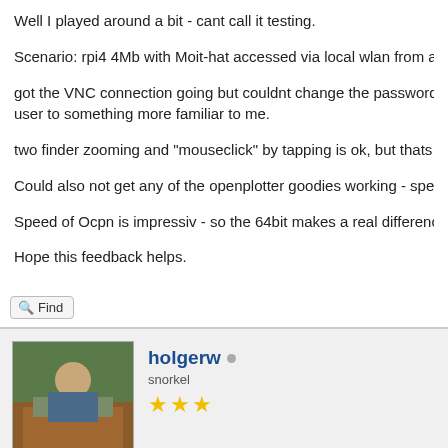Well I played around a bit - cant call it testing.
Scenario: rpi4 4Mb with Moit-hat accessed via local wlan from a Sam
got the VNC connection going but couldnt change the password. Cou
user to something more familiar to me.
two finder zooming and "mouseclick" by tapping is ok, but thats abou
Could also not get any of the openplotter goodies working - specially
Speed of Ocpn is impressiv - so the 64bit makes a real difference - b
Hope this feedback helps.
holgerw
snorkel
2021-01-27, 06:00 PM
please try "two finder tapping" for right click also.